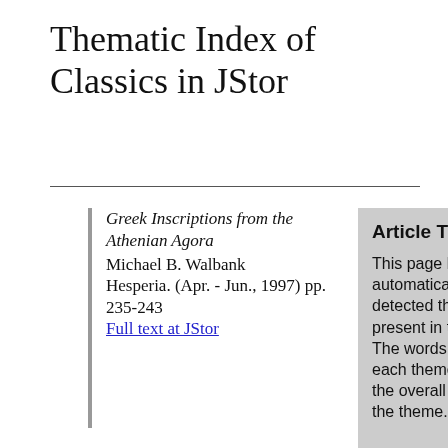Thematic Index of Classics in JStor
Greek Inscriptions from the Athenian Agora
Michael B. Walbank
Hesperia. (Apr. - Jun., 1997) pp. 235-243
Full text at JStor
Article Themes
This page lists the automatically detected themes present in this article. The words shown for each theme reflect the overall content of the theme.